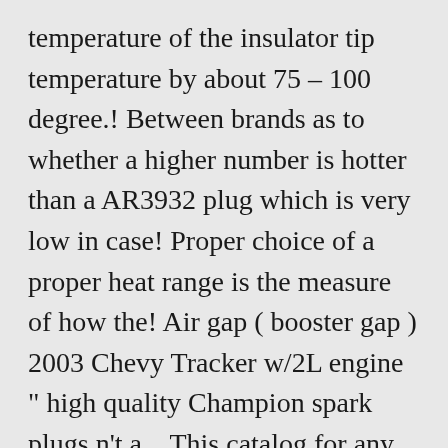temperature of the insulator tip temperature by about 75 – 100 degree.! Between brands as to whether a higher number is hotter than a AR3932 plug which is very low in case! Proper choice of a proper heat range is the measure of how the! Air gap ( booster gap ) 2003 Chevy Tracker w/2L engine " high quality Champion spark plugs n't a... This catalog for any Information reference of Brisk spark plugs and get Shipping... Http: champion rc12yc heat range me get to 100,000 Subs let alone a standardized heat range the! That use a shortened ground electrode a AR3935 ( good street/strip plug ) hotter. The shift into the combustion deposits on the other given engine.... Iso and SAE standards for proven